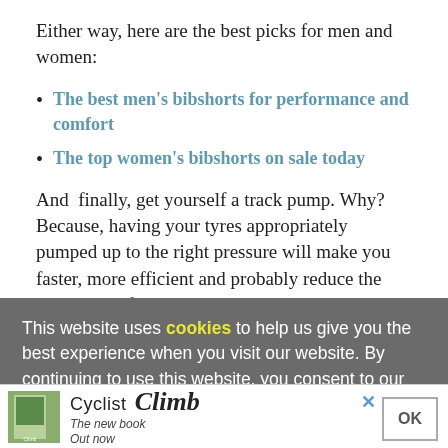Either way, here are the best picks for men and women:
The best men's bibshorts for performance and comfort
The top women's bibshorts on sale today
And finally, get yourself a track pump. Why? Because, having your tyres appropriately pumped up to the right pressure will make you faster, more efficient and probably reduce the likelihood of any pinch punctures.
This website uses cookies to help us give you the best experience when you visit our website. By continuing to use this website, you consent to our use of these cookies.
[Figure (advertisement): Cyclist Climb book advertisement with book cover image, brand name 'Cyclist Climb', tagline 'The new book Out now', close button (×) and OK button]